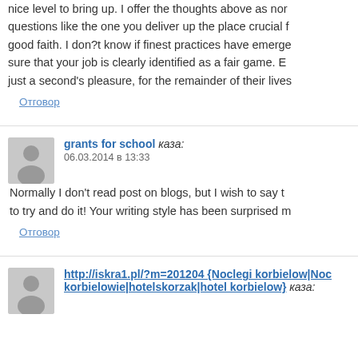nice level to bring up. I offer the thoughts above as nor questions like the one you deliver up the place crucial f good faith. I don?t know if finest practices have emerge sure that your job is clearly identified as a fair game. E just a second's pleasure, for the remainder of their lives
Отговор
grants for school каза: 06.03.2014 в 13:33
Normally I don't read post on blogs, but I wish to say t to try and do it! Your writing style has been surprised m
Отговор
http://iskra1.pl/?m=201204 {Noclegi korbielow|Noc korbielowie|hotelskorzak|hotel korbielow} каза: